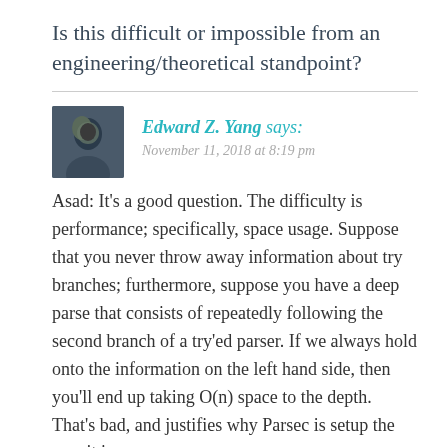Is this difficult or impossible from an engineering/theoretical standpoint?
Edward Z. Yang says:
November 11, 2018 at 8:19 pm
Asad: It’s a good question. The difficulty is performance; specifically, space usage. Suppose that you never throw away information about try branches; furthermore, suppose you have a deep parse that consists of repeatedly following the second branch of a try’ed parser. If we always hold onto the information on the left hand side, then you’ll end up taking O(n) space to the depth. That’s bad, and justifies why Parsec is setup the way it is.